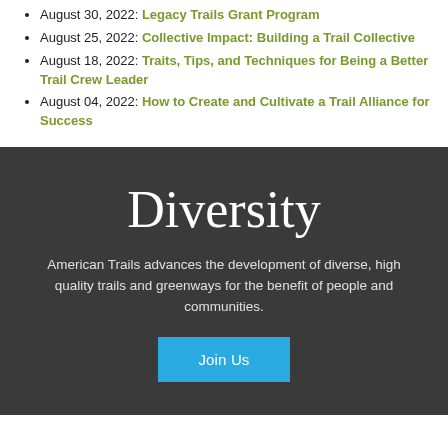August 30, 2022: Legacy Trails Grant Program
August 25, 2022: Collective Impact: Building a Trail Collective
August 18, 2022: Traits, Tips, and Techniques for Being a Better Trail Crew Leader
August 04, 2022: How to Create and Cultivate a Trail Alliance for Success
Diversity
American Trails advances the development of diverse, high quality trails and greenways for the benefit of people and communities.
Join Us